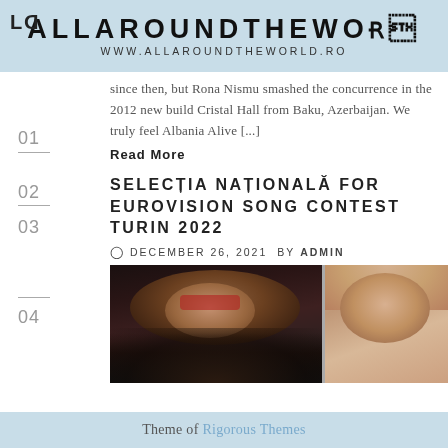ALLAROUNDTHEWO | WWW.ALLAROUNDTHEWORLD.RO
since then, but Rona Nismu smashed the concurrence in the 2012 new build Cristal Hall from Baku, Azerbaijan. We truly feel Albania Alive [...]
Read More
SELECȚIA NAȚIONALĂ FOR EUROVISION SONG CONTEST TURIN 2022
DECEMBER 26, 2021 BY ADMIN
[Figure (photo): Two photos side by side: a woman with dark hair and red lips wearing large hoop earrings on dark background, and a man with light hair on the right]
Theme of Rigorous Themes